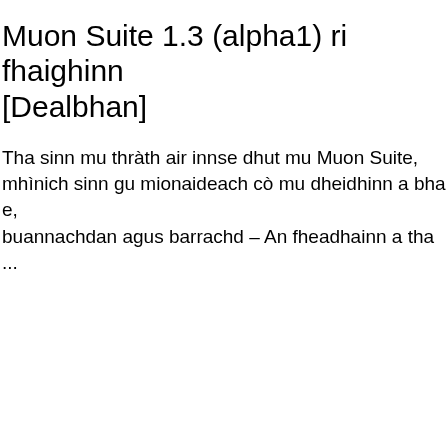Muon Suite 1.3 (alpha1) ri fhaighinn [Dealbhan]
Tha sinn mu thràth air innse dhut mu Muon Suite, mhìnich sinn gu mionaideach cò mu dheidhinn a bha e, buannachdan agus barrachd – An fheadhainn a tha ...